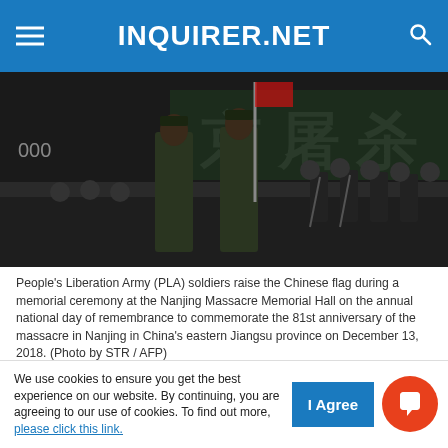INQUIRER.NET
[Figure (photo): People's Liberation Army soldiers raising the Chinese flag at a ceremony, with Chinese characters on a dark wall in the background and a crowd of people in dark clothing watching.]
People's Liberation Army (PLA) soldiers raise the Chinese flag during a memorial ceremony at the Nanjing Massacre Memorial Hall on the annual national day of remembrance to commemorate the 81st anniversary of the massacre in Nanjing in China's eastern Jiangsu province on December 13, 2018. (Photo by STR / AFP)
BEIJING, China — China outlined plans to build a modern, high-tech army in a national defense plan published Wednesday, while accusing Washington of undermining global strategic
We use cookies to ensure you get the best experience on our website. By continuing, you are agreeing to our use of cookies. To find out more, please click this link.